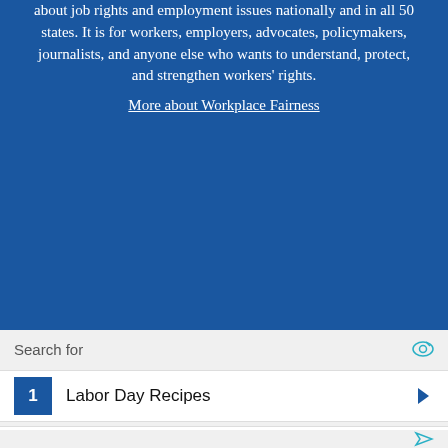about job rights and employment issues nationally and in all 50 states. It is for workers, employers, advocates, policymakers, journalists, and anyone else who wants to understand, protect, and strengthen workers' rights.
More about Workplace Fairness
Search for
1 Labor Day Recipes
2 Best Labor Day Sales